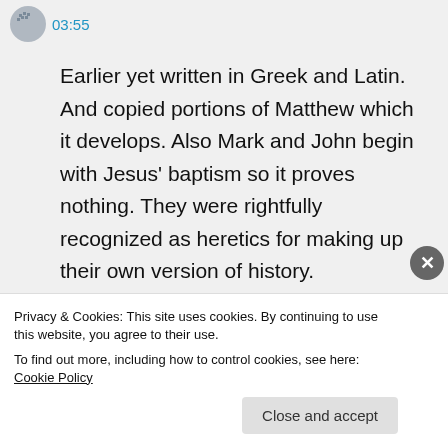03:55
Earlier yet written in Greek and Latin. And copied portions of Matthew which it develops. Also Mark and John begin with Jesus' baptism so it proves nothing. They were rightfully recognized as heretics for making up their own version of history.
Like
Privacy & Cookies: This site uses cookies. By continuing to use this website, you agree to their use.
To find out more, including how to control cookies, see here: Cookie Policy
Close and accept